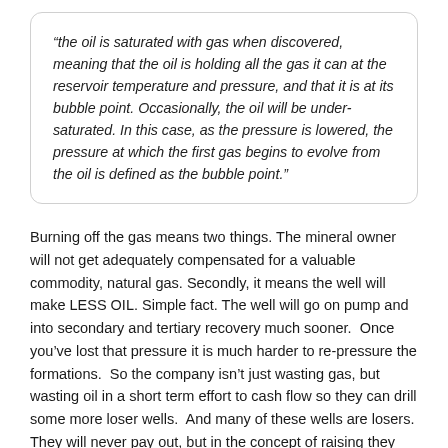“the oil is saturated with gas when discovered, meaning that the oil is holding all the gas it can at the reservoir temperature and pressure, and that it is at its bubble point. Occasionally, the oil will be under-saturated. In this case, as the pressure is lowered, the pressure at which the first gas begins to evolve from the oil is defined as the bubble point.”
Burning off the gas means two things. The mineral owner will not get adequately compensated for a valuable commodity, natural gas. Secondly, it means the well will make LESS OIL. Simple fact. The well will go on pump and into secondary and tertiary recovery much sooner. Once you’ve lost that pressure it is much harder to re-pressure the formations. So the company isn’t just wasting gas, but wasting oil in a short term effort to cash flow so they can drill some more loser wells. And many of these wells are losers. They will never pay out, but in the concept of raising they will become the reserve in value...